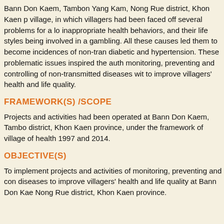Bann Don Kaem, Tambon Yang Kam, Nong Rue district, Khon Kaen p village, in which villagers had been faced off several problems for a lo inappropriate health behaviors, and their life styles being involved in a gambling. All these causes led them to become incidences of non-tran diabetic and hypertension. These problematic issues inspired the auth monitoring, preventing and controlling of non-transmitted diseases wit to improve villagers' health and life quality.
FRAMEWORK(S) /SCOPE
Projects and activities had been operated at Bann Don Kaem, Tambo district, Khon Kaen province, under the framework of village of health 1997 and 2014.
OBJECTIVE(S)
To implement projects and activities of monitoring, preventing and con diseases to improve villagers' health and life quality at Bann Don Kae Nong Rue district, Khon Kaen province.